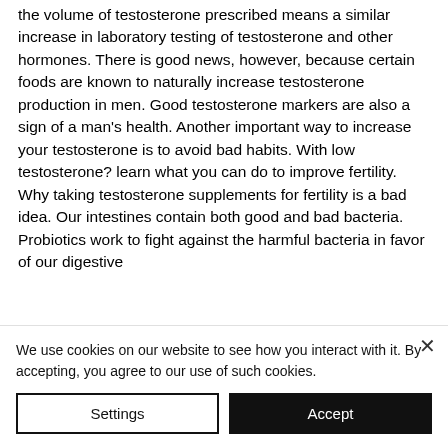the volume of testosterone prescribed means a similar increase in laboratory testing of testosterone and other hormones. There is good news, however, because certain foods are known to naturally increase testosterone production in men. Good testosterone markers are also a sign of a man's health. Another important way to increase your testosterone is to avoid bad habits. With low testosterone? learn what you can do to improve fertility. Why taking testosterone supplements for fertility is a bad idea. Our intestines contain both good and bad bacteria. Probiotics work to fight against the harmful bacteria in favor of our digestive
We use cookies on our website to see how you interact with it. By accepting, you agree to our use of such cookies.